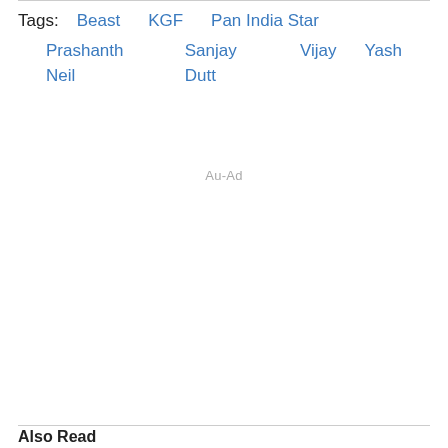Tags: Beast  KGF  Pan India Star  Prashanth Neil  Sanjay Dutt  Vijay  Yash
Au-Ad